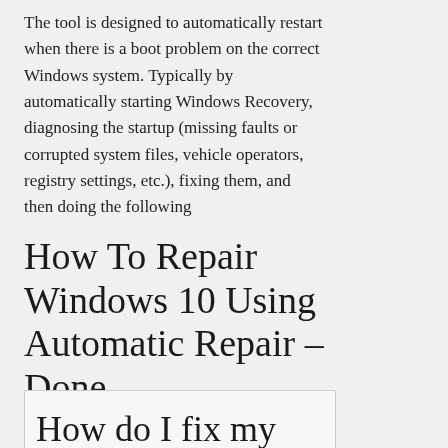The tool is designed to automatically restart when there is a boot problem on the correct Windows system. Typically by automatically starting Windows Recovery, diagnosing the startup (missing faults or corrupted system files, vehicle operators, registry settings, etc.), fixing them, and then doing the following
How To Repair Windows 10 Using Automatic Repair – Done
How do I fix my